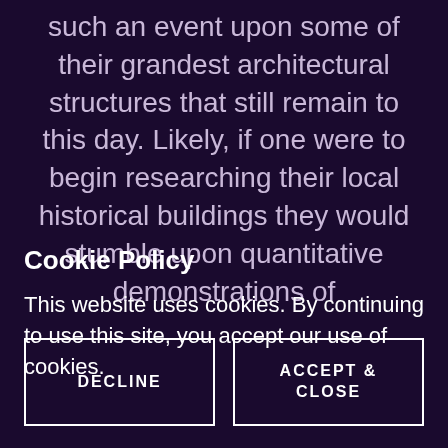such an event upon some of their grandest architectural structures that still remain to this day. Likely, if one were to begin researching their local historical buildings they would stumble upon quantitative demonstrations of
Cookie Policy
This website uses cookies. By continuing to use this site, you accept our use of cookies.
DECLINE
ACCEPT & CLOSE